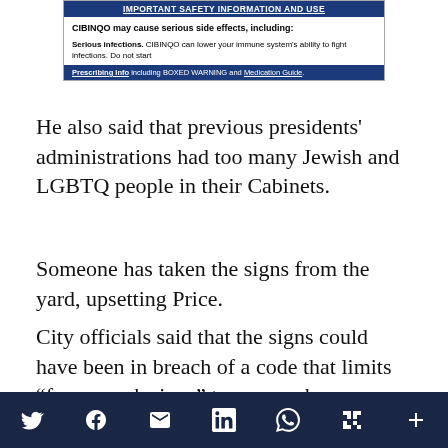[Figure (other): Advertisement box for CIBINQO medication with blue header bar reading 'IMPORTANT SAFETY INFORMATION AND USE', body text about serious side effects including serious infections, and blue footer bar with 'Prescribing Info including BOXED WARNING and Medication Guide']
He also said that previous presidents' administrations had too many Jewish and LGBTQ people in their Cabinets.
Someone has taken the signs from the yard, upsetting Price.
City officials said that the signs could have been in breach of a code that limits “free speech signs” to one per home.
Social share icons: Twitter, Facebook, Email, LinkedIn, WhatsApp, Flipboard, More